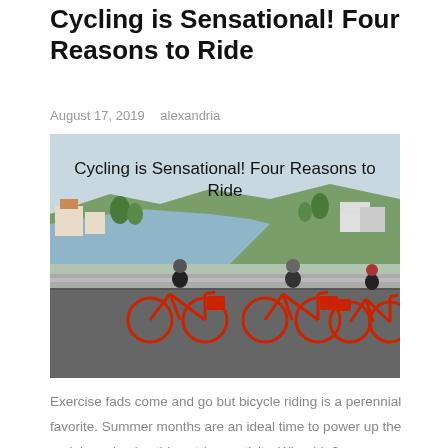Cycling is Sensational! Four Reasons to Ride
August 17, 2019   alexandria
[Figure (photo): Three cyclists riding red shared bicycles along a coastal road, with a scenic bay and hillside town visible in the background. Overlaid title text reads: Cycling is Sensational! Four Reasons to Ride]
Exercise fads come and go but bicycle riding is a perennial favorite. Summer months are an ideal time to power up the pedals and enjoy this outdoor activity. Why ride?